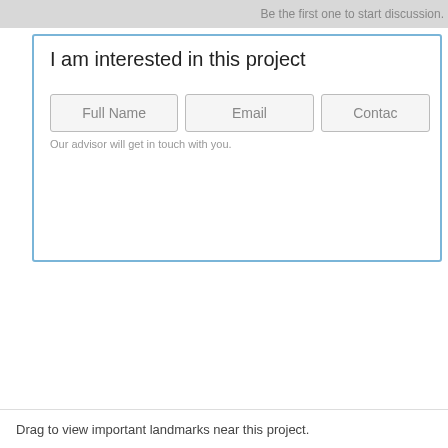Be the first one to start discussion.
I am interested in this project
Full Name
Email
Contac
Our advisor will get in touch with you.
Drag to view important landmarks near this project.